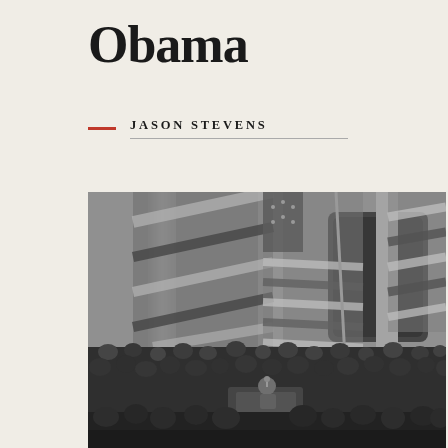Obama
JASON STEVENS
[Figure (photo): Black and white historical photograph of a presidential inauguration scene. American flags are draped on a columned building. A figure stands at a podium surrounded by a large crowd of people wearing formal attire and hats.]